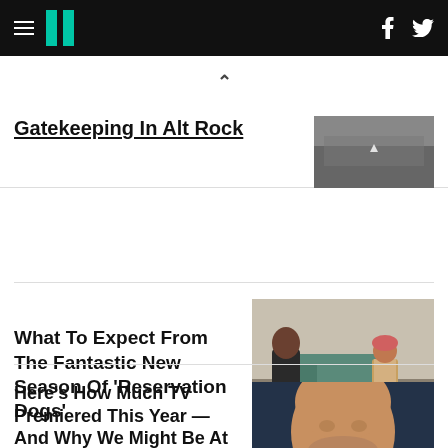HuffPost
Gatekeeping In Alt Rock
What To Expect From The Fantastic New Season Of 'Reservation Dogs'
Here's How Much TV Premiered This Year — And Why We Might Be At 'Peak Peak TV'